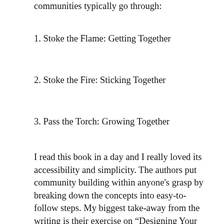communities typically go through:
1. Stoke the Flame: Getting Together
2. Stoke the Fire: Sticking Together
3. Pass the Torch: Growing Together
I read this book in a day and I really loved its accessibility and simplicity. The authors put community building within anyone's grasp by breaking down the concepts into easy-to-follow steps. My biggest take-away from the writing is their exercise on “Designing Your First Activity”. This activity should be purposeful, participatory, and repeatable. The structure of this first activity is something you can come back to again and again to re-establish or re-imagine your community.
When you think of some of the great communities that